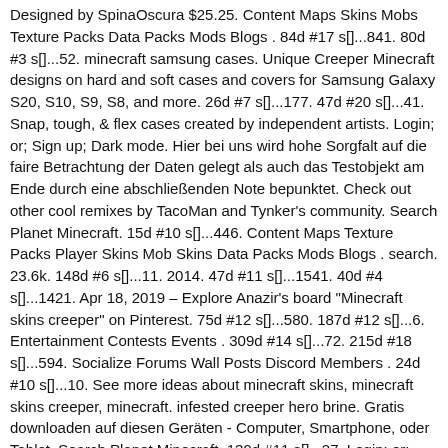Designed by SpinaOscura $25.25. Content Maps Skins Mobs Texture Packs Data Packs Mods Blogs . 84d #17 s[]...841. 80d #3 s[]...52. minecraft samsung cases. Unique Creeper Minecraft designs on hard and soft cases and covers for Samsung Galaxy S20, S10, S9, S8, and more. 26d #7 s[]...177. 47d #20 s[]...41. Snap, tough, & flex cases created by independent artists. Login; or; Sign up; Dark mode. Hier bei uns wird hohe Sorgfalt auf die faire Betrachtung der Daten gelegt als auch das Testobjekt am Ende durch eine abschließenden Note bepunktet. Check out other cool remixes by TacoMan and Tynker's community. Search Planet Minecraft. 15d #10 s[]...446. Content Maps Texture Packs Player Skins Mob Skins Data Packs Mods Blogs . search. 23.6k. 148d #6 s[]...11. 2014. 47d #11 s[]...1541. 40d #4 s[]...1421. Apr 18, 2019 - Explore Anazir's board "Minecraft skins creeper" on Pinterest. 75d #12 s[]...580. 187d #12 s[]...6. Entertainment Contests Events . 309d #14 s[]...72. 215d #18 s[]...594. Socialize Forums Wall Posts Discord Members . 24d #10 s[]...10. See more ideas about minecraft skins, minecraft skins creeper, minecraft. infested creeper hero brine. Gratis downloaden auf diesen Geräten - Computer, Smartphone, oder Tablet. Search Planet Minecraft. 139d #11 s[]...27. Login; or; Sign up; Search Planet Minecraft. Support Tickets Help . Download skin now! Tools PMCSkin3D Banners . minecrafty.co.uk is your first and best source